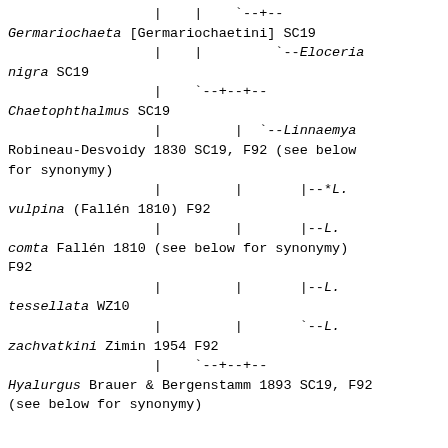Phylogenetic tree / taxonomic hierarchy showing relationships among Tachinidae (parasitoid flies), including Germariochaeta [Germariochaetini] SC19, Eloceria nigra SC19, Chaetophthalmus SC19, Linnaemya Robineau-Desvoidy 1830 SC19 F92 (see below for synonymy), *L. vulpina (Fallén 1810) F92, L. comta Fallén 1810 (see below for synonymy) F92, L. tessellata WZ10, L. zachvatkini Zimin 1954 F92, Hyalurgus Brauer & Bergenstamm 1893 SC19 F92 (see below for synonymy)